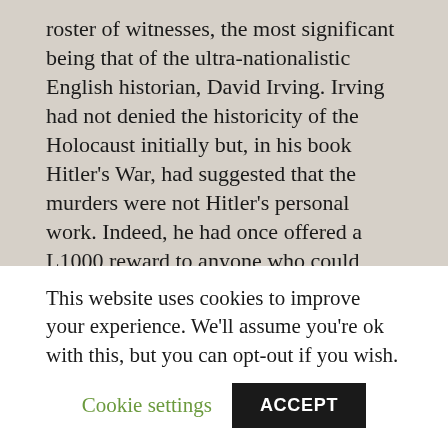roster of witnesses, the most significant being that of the ultra-nationalistic English historian, David Irving. Irving had not denied the historicity of the Holocaust initially but, in his book Hitler's War, had suggested that the murders were not Hitler's personal work. Indeed, he had once offered a L1000 reward to anyone who could produce a written order from the Fuehrer for the destruction of European Jewry. More and more willing to associate openly with Holocaust deniers, he chose to identify himself
This website uses cookies to improve your experience. We'll assume you're ok with this, but you can opt-out if you wish.
Cookie settings
ACCEPT